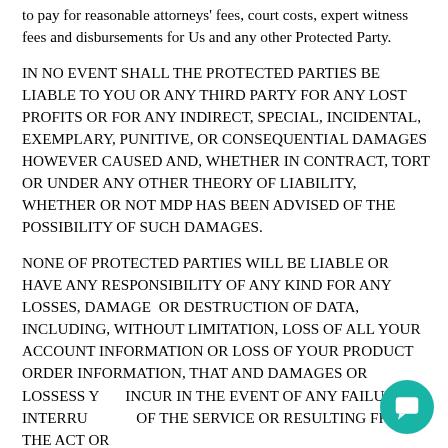to pay for reasonable attorneys' fees, court costs, expert witness fees and disbursements for Us and any other Protected Party.
IN NO EVENT SHALL THE PROTECTED PARTIES BE LIABLE TO YOU OR ANY THIRD PARTY FOR ANY LOST PROFITS OR FOR ANY INDIRECT, SPECIAL, INCIDENTAL, EXEMPLARY, PUNITIVE, OR CONSEQUENTIAL DAMAGES HOWEVER CAUSED AND, WHETHER IN CONTRACT, TORT OR UNDER ANY OTHER THEORY OF LIABILITY, WHETHER OR NOT MDP HAS BEEN ADVISED OF THE POSSIBILITY OF SUCH DAMAGES.
NONE OF PROTECTED PARTIES WILL BE LIABLE OR HAVE ANY RESPONSIBILITY OF ANY KIND FOR ANY LOSSES, DAMAGE  OR DESTRUCTION OF DATA, INCLUDING, WITHOUT LIMITATION, LOSS OF ALL YOUR ACCOUNT INFORMATION OR LOSS OF YOUR PRODUCT ORDER INFORMATION, THAT AND DAMAGES OR LOSSESS YOU INCUR IN THE EVENT OF ANY FAILURE OR INTERRUPTION OF THE SERVICE OR RESULTING FROM THE ACT OR
[Figure (other): Teal chat support bubble icon in bottom-right corner]